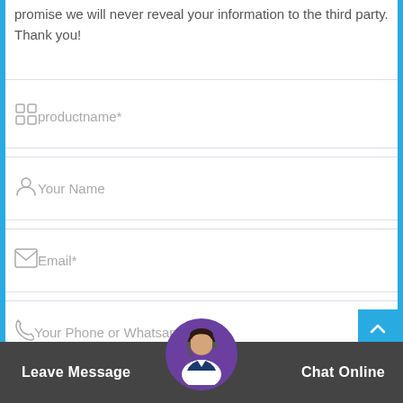promise we will never reveal your information to the third party. Thank you!
productname*
Your Name
Email*
Your Phone or Whatsapp*
Please fill in here the products you need information
Leave Message   Chat Online